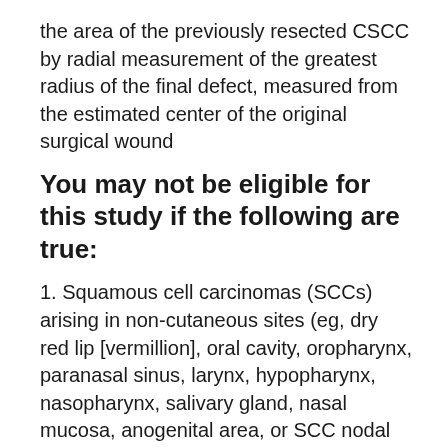the area of the previously resected CSCC by radial measurement of the greatest radius of the final defect, measured from the estimated center of the original surgical wound
You may not be eligible for this study if the following are true:
1. Squamous cell carcinomas (SCCs) arising in non-cutaneous sites (eg, dry red lip [vermillion], oral cavity, oropharynx, paranasal sinus, larynx, hypopharynx, nasopharynx, salivary gland, nasal mucosa, anogenital area, or SCC nodal